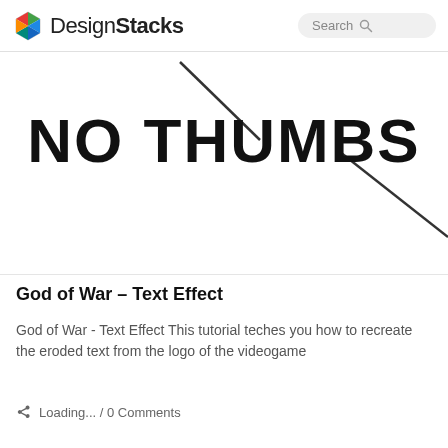DesignStacks  Search
[Figure (illustration): White background with bold black diagonal lines and large bold black text reading 'NO THUMBS' centered, styled as a graphic design tutorial thumbnail.]
God of War – Text Effect
God of War - Text Effect This tutorial teches you how to recreate the eroded text from the logo of the videogame
Loading... / 0 Comments